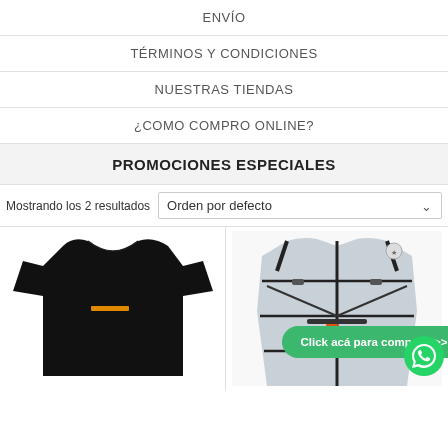ENVÍO
TÉRMINOS Y CONDICIONES
NUESTRAS TIENDAS
¿COMO COMPRO ONLINE?
PROMOCIONES ESPECIALES
Mostrando los 2 resultados   Orden por defecto
[Figure (photo): Black t-shirt on white background with a small yellow-orange logo stripe on the chest]
[Figure (photo): Grey running/hydration vest with black straps and buckles, viewed from the front]
Click acá para comprar! >>